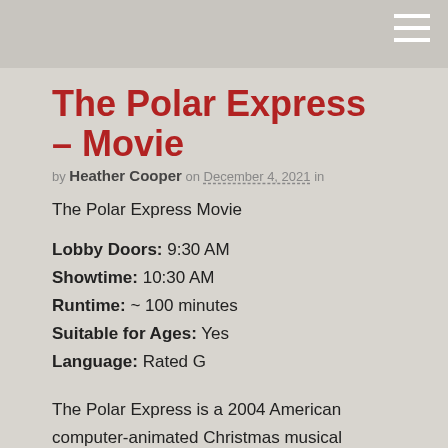The Polar Express – Movie
by Heather Cooper on December 4, 2021 in
The Polar Express Movie
Lobby Doors: 9:30 AM
Showtime: 10:30 AM
Runtime: ~ 100 minutes
Suitable for Ages: Yes
Language: Rated G
The Polar Express is a 2004 American computer-animated Christmas musical adventure film[1] co-written and directed by Robert Zemeckis, based on the 1985 children's book of the same name by Chris Van Allsburg, who also served as one of the executive producers. The film features human characters animated using live-action motion capture animation. It tells the story of a young boy who